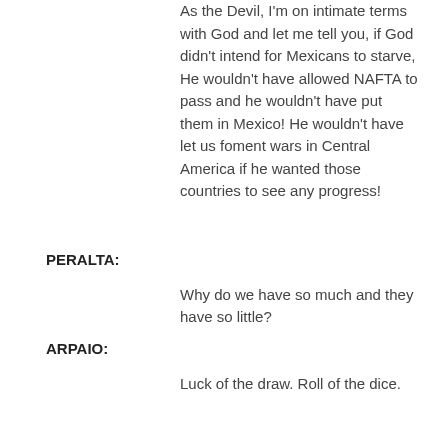As the Devil, I'm on intimate terms with God and let me tell you, if God didn't intend for Mexicans to starve, He wouldn't have allowed NAFTA to pass and he wouldn't have put them in Mexico! He wouldn't have let us foment wars in Central America if he wanted those countries to see any progress!
PERALTA:
Why do we have so much and they have so little?
ARPAIO:
Luck of the draw. Roll of the dice.
PERALTA:
Ah! Sheriff, you're like me—a gambler! You like the cards as much as I do. Let's play for my freedom.
Golosita brings chairs to trunk in